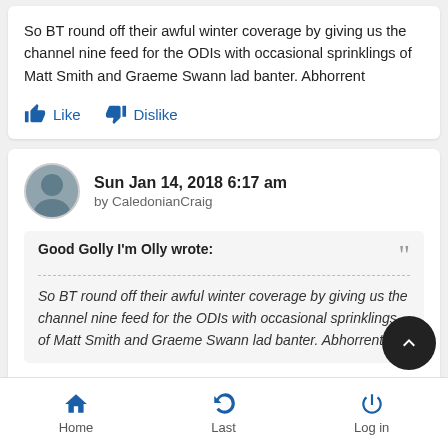So BT round off their awful winter coverage by giving us the channel nine feed for the ODIs with occasional sprinklings of Matt Smith and Graeme Swann lad banter. Abhorrent
Like  Dislike
Sun Jan 14, 2018 6:17 am
by CaledonianCraig
Good Golly I'm Olly wrote:
So BT round off their awful winter coverage by giving us the channel nine feed for the ODIs with occasional sprinklings of Matt Smith and Graeme Swann lad banter. Abhorrent
Perhaps an acceptance their choice of commentators are not a